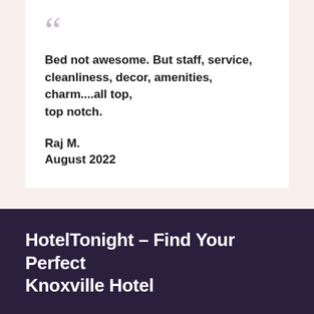Bed not awesome. But staff, service, cleanliness, decor, amenities, charm....all top, top notch.

Raj M.
August 2022
HotelTonight – Find Your Perfect Knoxville Hotel
Knoxville, Tennessee is known as the gateway to The Smoky Mountains, but it's also known for its deep love of college football (tailgates for the University of Tennessee games are legendary), and its rich history. I'll admit that I didn't know much